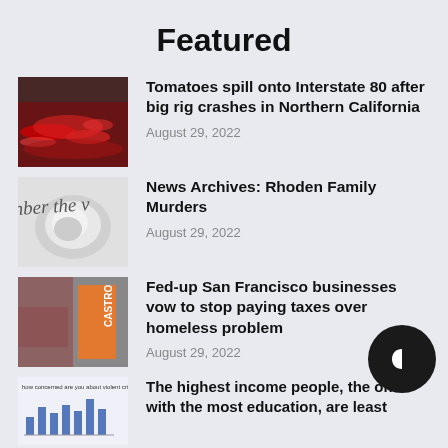Featured
Tomatoes spill onto Interstate 80 after big rig crashes in Northern California
August 29, 2022
News Archives: Rhoden Family Murders
August 29, 2022
Fed-up San Francisco businesses vow to stop paying taxes over homeless problem
August 29, 2022
The highest income people, the ones with the most education, are least